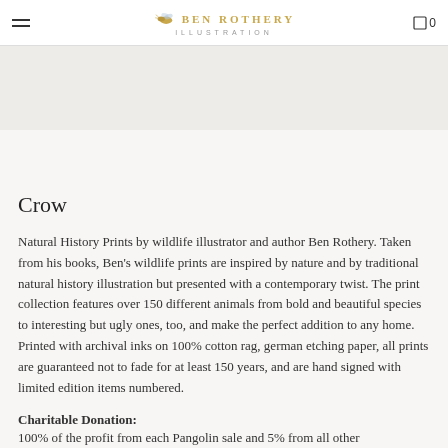BEN ROTHERY ILLUSTRATION
[Figure (photo): Product image area for Crow illustration print (image not shown in this view)]
Crow
Natural History Prints by wildlife illustrator and author Ben Rothery. Taken from his books, Ben's wildlife prints are inspired by nature and by traditional natural history illustration but presented with a contemporary twist. The print collection features over 150 different animals from bold and beautiful species to interesting but ugly ones, too, and make the perfect addition to any home.
Printed with archival inks on 100% cotton rag, german etching paper, all prints are guaranteed not to fade for at least 150 years, and are hand signed with limited edition items numbered.
Charitable Donation:
100% of the profit from each Pangolin sale and 5% from all other